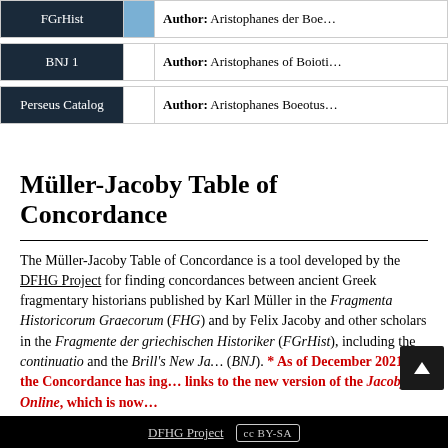| Source |  | Description |
| --- | --- | --- |
| FGrHist |  | Author: Aristophanes der Boe… |
| BNJ 1 |  | Author: Aristophanes of Boioti… |
| Perseus Catalog |  | Author: Aristophanes Boeotus… |
Müller-Jacoby Table of Concordance
The Müller-Jacoby Table of Concordance is a tool developed by the DFHG Project for finding concordances between ancient Greek fragmentary historians published by Karl Müller in the Fragmenta Historicorum Graecorum (FHG) and by Felix Jacoby and other scholars in the Fragmente der griechischen Historiker (FGrHist), including the continuatio and the Brill's New Ja… (BNJ). * As of December 2021, the Concordance has ing… links to the new version of the Jacoby Online, which is now…
DFHG Project  (cc) BY-SA